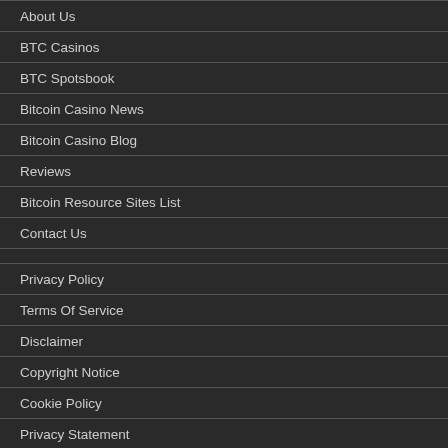About Us
BTC Casinos
BTC Spotsbook
Bitcoin Casino News
Bitcoin Casino Blog
Reviews
Bitcoin Resource Sites List
Contact Us
Privacy Policy
Terms Of Service
Disclaimer
Copyright Notice
Cookie Policy
Privacy Statement
Imprint
Responsible Gambling
Gamblers Anonymous
GamCare